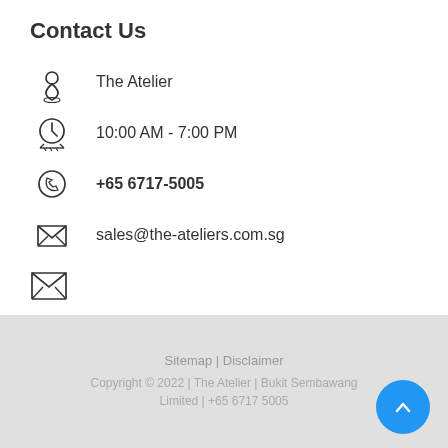Contact Us
The Atelier
10:00 AM - 7:00 PM
+65 6717-5005
sales@the-ateliers.com.sg
Sitemap | Disclaimer
Copyright © 2022 | The Atelier | Bukit Sembawang Limited | +65 6717 5005